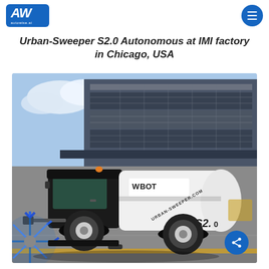autowise.ai logo and navigation menu
Urban-Sweeper S2.0 Autonomous at IMI factory in Chicago, USA
[Figure (photo): Autonomous street sweeper vehicle labeled 'WBOT Urban-Sweeper S2.0' parked in a parking lot in front of a modern glass building. The vehicle has a large blue rotary brush on the front left side and the text 'URBAN-SWEEPER.COM' and 'S2.0' on the white body panel. A blue share button is visible in the bottom-right corner of the image.]